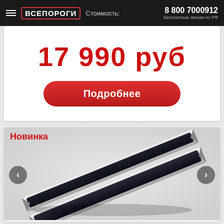ВСЕПОРОГИ  Стоимость:  8 800 7000912  Бесплатные звонки по РФ
17 990 руб
Подробнее
Новинка
[Figure (photo): Two black textured side running boards with silver chrome trim, displayed diagonally on a light background.]